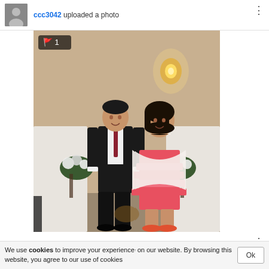ccc3042 uploaded a photo
[Figure (photo): Two children dressed formally standing in front of a decorated white backdrop with floral arrangements. A boy in a black suit and red tie stands on the left; a girl in a pink/coral ruffled dress with a white shawl stands on the right. A wall sconce light glows behind them.]
We use cookies to improve your experience on our website. By browsing this website, you agree to our use of cookies
Ok